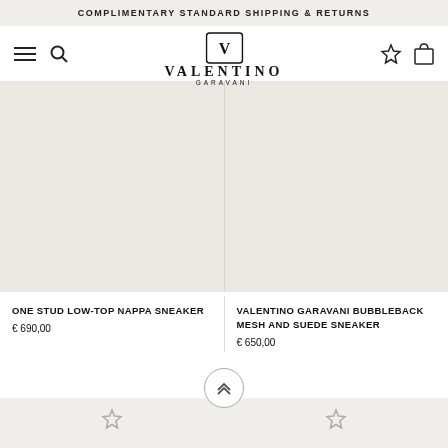COMPLIMENTARY STANDARD SHIPPING & RETURNS
[Figure (logo): Valentino Garavani logo with V emblem, brand name VALENTINO and subtitle GARAVANI]
[Figure (photo): Product image placeholder - ONE STUD LOW-TOP NAPPA SNEAKER, beige background]
[Figure (photo): Product image placeholder - VALENTINO GARAVANI BUBBLEBACK MESH AND SUEDE SNEAKER, beige background]
ONE STUD LOW-TOP NAPPA SNEAKER
€ 690,00
VALENTINO GARAVANI BUBBLEBACK MESH AND SUEDE SNEAKER
€ 650,00